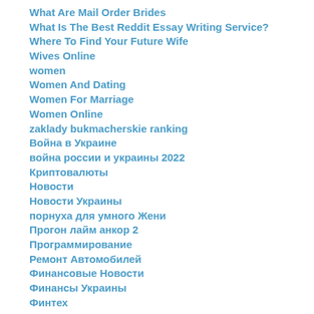What Are Mail Order Brides
What Is The Best Reddit Essay Writing Service?
Where To Find Your Future Wife
Wives Online
women
Women And Dating
Women For Marriage
Women Online
zaklady bukmacherskie ranking
Война в Украине
война россии и украины 2022
Криптовалюты
Новости
Новости Украины
порнуха для умного Жени
Прогон лайм анкор 2
Программирование
Ремонт Автомобилей
Финансовые Новости
Финансы Украины
Финтех